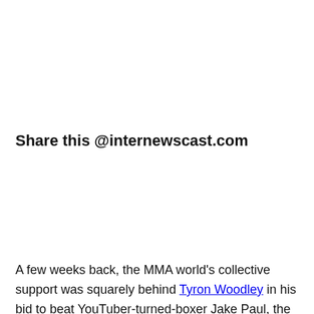Share this @internewscast.com
[Figure (infographic): Social share buttons: Facebook (dark blue), Twitter (light blue), Reddit (orange-red), Pinterest (dark red)]
A few weeks back, the MMA world's collective support was squarely behind Tyron Woodley in his bid to beat YouTuber-turned-boxer Jake Paul, the